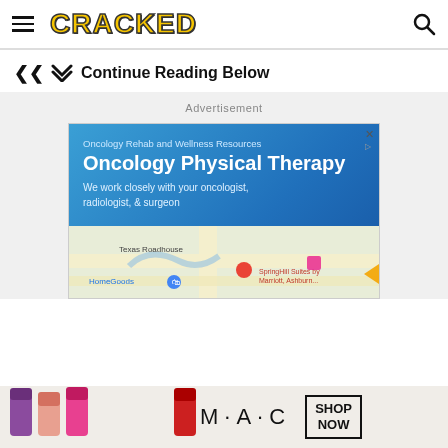CRACKED
Continue Reading Below
Advertisement
[Figure (screenshot): Advertisement card for Oncology Physical Therapy with blue banner showing 'Oncology Rehab and Wellness Resources', 'Oncology Physical Therapy', 'We work closely with your oncologist, radiologist, & surgeon', with a Google Maps view below showing HomeGoods, Texas Roadhouse, SpringHill Suites by Marriott Ashburn]
[Figure (screenshot): Bottom advertisement banner showing MAC cosmetics lipsticks in purple, pink, and red colors with 'SHOP NOW' text]